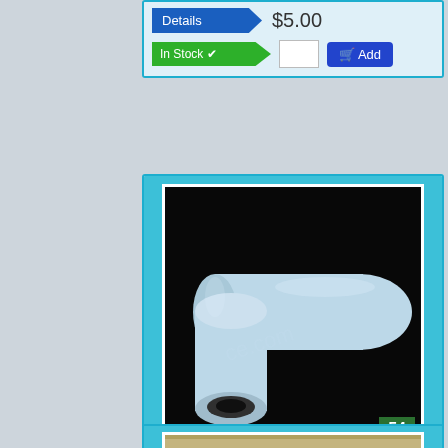[Figure (screenshot): Partial product card showing $5.00 price, Details button, In Stock checkmark badge, quantity box, and Add to cart button on light blue background]
[Figure (screenshot): Product card for Part #: 1864803700, showing a rubber elbow tube part on black background, badge number 54, description 'Rubbe r3 of sprinkler', price $3.00, Details button, In Stock badge, quantity box, and Add to cart button]
[Figure (screenshot): Partial product card showing the top of a product image with a beige/wood-colored background, cropped at bottom of page]